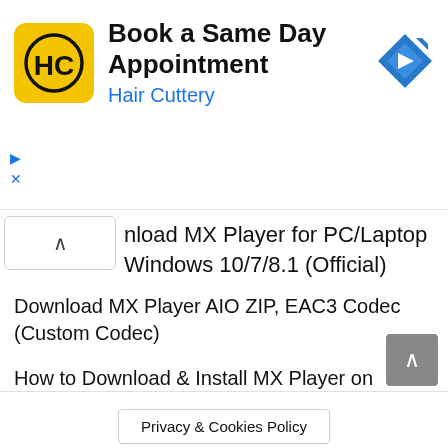[Figure (infographic): Hair Cuttery advertisement banner with yellow HC logo, 'Book a Same Day Appointment' headline, 'Hair Cuttery' subtext in blue, and a blue navigation/direction diamond icon on the right. Ad controls (play triangle and X) on the left side.]
nload MX Player for PC/Laptop Windows 10/7/8.1 (Official)
Download MX Player AIO ZIP, EAC3 Codec (Custom Codec)
How to Download & Install MX Player on FireStick (in 2021)
MX Player for macOS — Download Best Media Player for Mac
Privacy & Cookies Policy